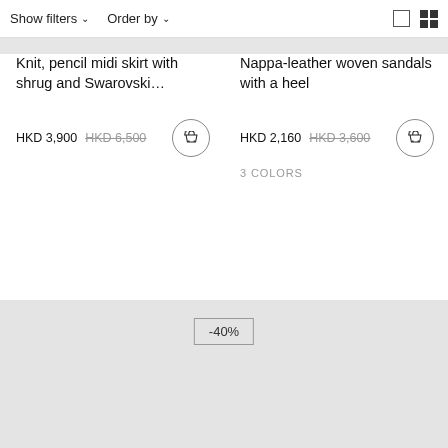Show filters   Order by
Knit, pencil midi skirt with shrug and Swarovski...
HKD 3,900  HKD 6,500
Nappa-leather woven sandals with a heel
HKD 2,160  HKD 3,600
3 COLORS
-40%